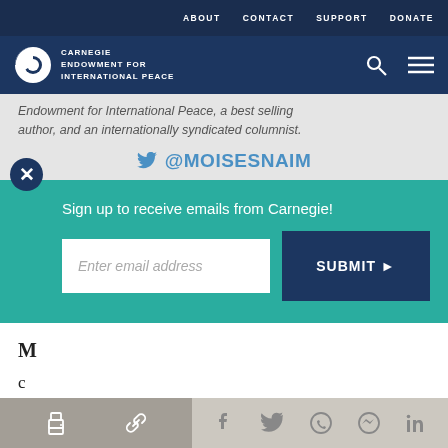ABOUT  CONTACT  SUPPORT  DONATE
[Figure (logo): Carnegie Endowment for International Peace logo - white circle/globe icon with text]
Endowment for International Peace, a best selling author, and an internationally syndicated columnist.
@MOISESNAIM
Sign up to receive emails from Carnegie!
Enter email address
SUBMIT ▶
"negated and transmuted scenario.  His self-assurance is surprising considering that almost all
Share bar with print, link, facebook, twitter, whatsapp, messenger, linkedin icons